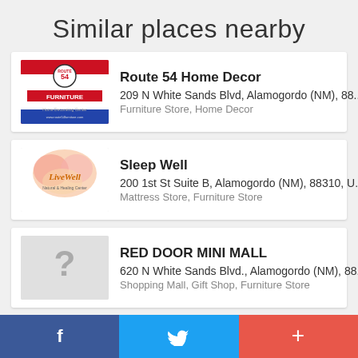Similar places nearby
Route 54 Home Decor | 0.09 km | 209 N White Sands Blvd, Alamogordo (NM), 88... | Furniture Store, Home Decor
Sleep Well | 0.27 km | 200 1st St Suite B, Alamogordo (NM), 88310, U... | Mattress Store, Furniture Store
RED DOOR MINI MALL | 0.46 km | 620 N White Sands Blvd., Alamogordo (NM), 88... | Shopping Mall, Gift Shop, Furniture Store
Maupin's Home Furniture | 0.71 km